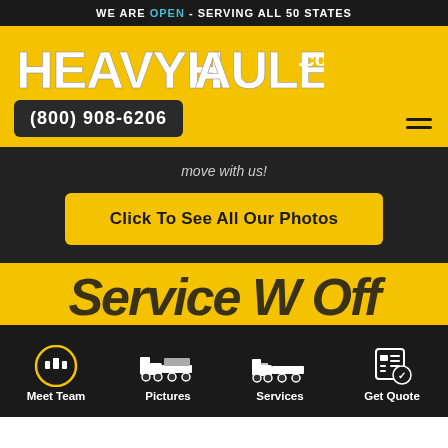WE ARE OPEN - SERVING ALL 50 STATES
[Figure (logo): HeavyHaulers.com logo in bold distressed white text on yellow background]
(800) 908-6206
move with us!
Click To See All Our Photos
[Figure (infographic): Navigation bar with Meet Team, Pictures, Services, Get Quote icons]